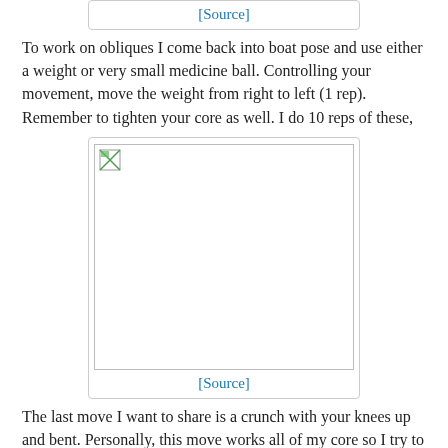[Figure (other): Image placeholder with broken image icon and [Source] link below, top of page]
To work on obliques I come back into boat pose and use either a weight or very small medicine ball. Controlling your movement, move the weight from right to left (1 rep). Remember to tighten your core as well. I do 10 reps of these,
[Figure (photo): Image placeholder with broken image icon and [Source] link below]
The last move I want to share is a crunch with your knees up and bent. Personally, this move works all of my core so I try to always incorporate it in to my regimen. I usually do about 30.
[Figure (photo): Partial image placeholder with broken image icon at bottom of page]